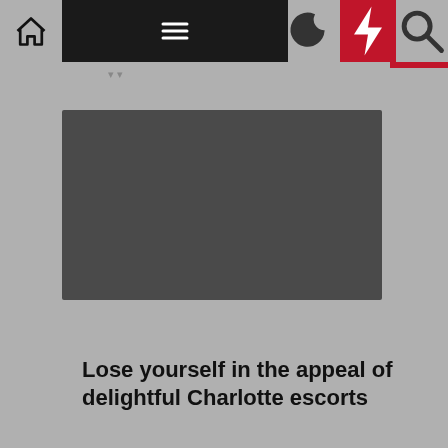[Figure (screenshot): Website navigation bar with home icon, hamburger menu (dark background), moon icon, lightning bolt icon (red background), and search icon]
[Figure (photo): Dark grey placeholder image rectangle]
Escort
Lose yourself in the appeal of delightful Charlotte escorts